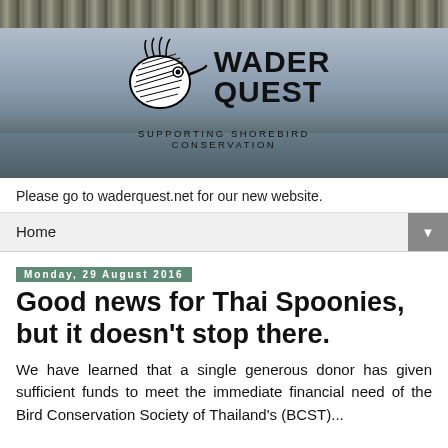[Figure (logo): Wader Quest banner with bird logo showing a wader head silhouette in black and white, with text WADER QUEST and SUPPORTING SHOREBIRD CONSERVATION, set against a nature/water background]
Please go to waderquest.net for our new website.
Home
Monday, 29 August 2016
Good news for Thai Spoonies, but it doesn't stop there.
We have learned that a single generous donor has given sufficient funds to meet the immediate financial need of the Bird Conservation Society of Thailand's (BCST)...